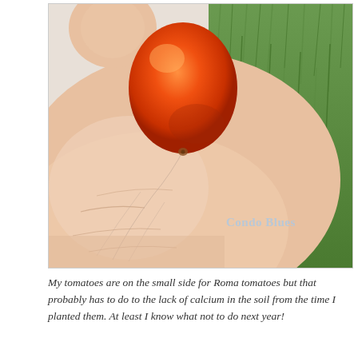[Figure (photo): A hand holding a small red Roma tomato, with green grass visible in the background. A watermark reading 'Condo Blues' appears in the lower right of the image.]
My tomatoes are on the small side for Roma tomatoes but that probably has to do to the lack of calcium in the soil from the time I planted them. At least I know what not to do next year!